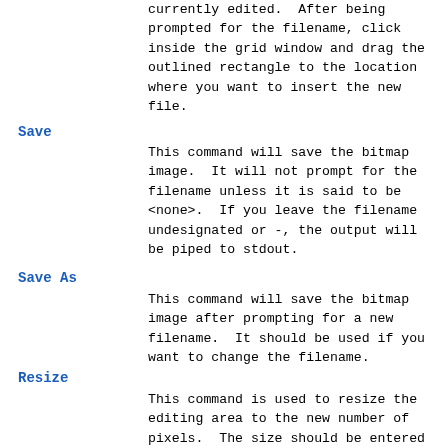currently edited. After being prompted for the filename, click inside the grid window and drag the outlined rectangle to the location where you want to insert the new file.
Save
This command will save the bitmap image. It will not prompt for the filename unless it is said to be <none>. If you leave the filename undesignated or -, the output will be piped to stdout.
Save As
This command will save the bitmap image after prompting for a new filename. It should be used if you want to change the filename.
Resize
This command is used to resize the editing area to the new number of pixels. The size should be entered